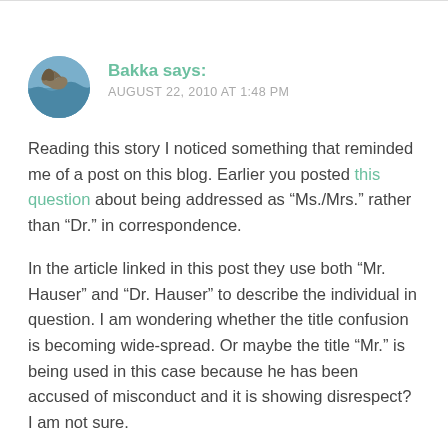[Figure (illustration): Circular avatar image showing a coastal cliff scene with blue water]
Bakka says: AUGUST 22, 2010 AT 1:48 PM
Reading this story I noticed something that reminded me of a post on this blog. Earlier you posted this question about being addressed as “Ms./Mrs.” rather than “Dr.” in correspondence.
In the article linked in this post they use both “Mr. Hauser” and “Dr. Hauser” to describe the individual in question. I am wondering whether the title confusion is becoming wide-spread. Or maybe the title “Mr.” is being used in this case because he has been accused of misconduct and it is showing disrespect? I am not sure.